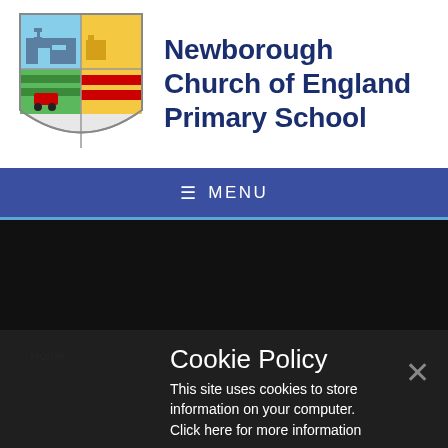[Figure (logo): Newborough Church of England Primary School shield crest logo with quadrants showing buildings and farmland]
Newborough Church of England Primary School
≡ MENU
[Figure (photo): Dark/black image area, likely a school photograph obscured]
Cookie Policy
This site uses cookies to store information on your computer. Click here for more information
Allow Cookies   Deny Cookies
Home
s History